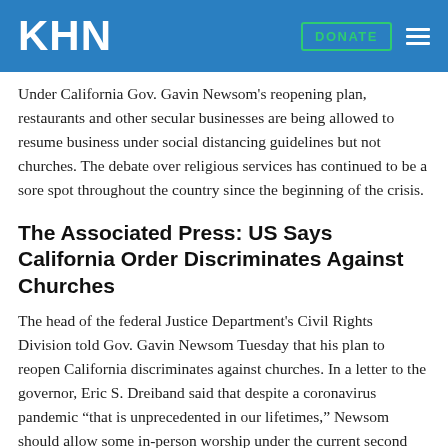KHN
Under California Gov. Gavin Newsom's reopening plan, restaurants and other secular businesses are being allowed to resume business under social distancing guidelines but not churches. The debate over religious services has continued to be a sore spot throughout the country since the beginning of the crisis.
The Associated Press: US Says California Order Discriminates Against Churches
The head of the federal Justice Department's Civil Rights Division told Gov. Gavin Newsom Tuesday that his plan to reopen California discriminates against churches. In a letter to the governor, Eric S. Dreiband said that despite a coronavirus pandemic “that is unprecedented in our lifetimes,” Newsom should allow some in-person worship under the current second phase of his four-part reopening plan. (Jablon, 5/20)
Reuters: U.S. Department Of Justice Warns California Governor Over Pandemic Church Closings